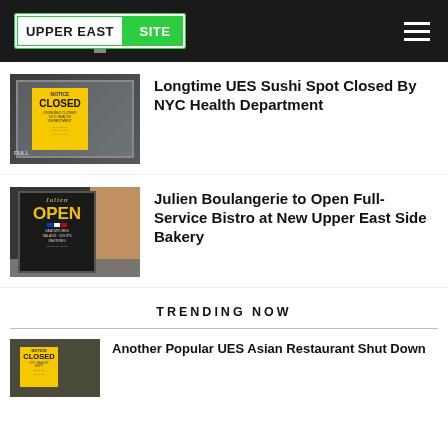Upper East Site
[Figure (photo): A storefront window with a yellow NYC Health Department NOTICE: CLOSED sign]
Longtime UES Sushi Spot Closed By NYC Health Department
[Figure (photo): A chalkboard OPEN sign outside Julien Boulangerie]
Julien Boulangerie to Open Full-Service Bistro at New Upper East Side Bakery
TRENDING NOW
[Figure (photo): Yellow NYC Health Department closed notice on a restaurant door]
Another Popular UES Asian Restaurant Shut Down